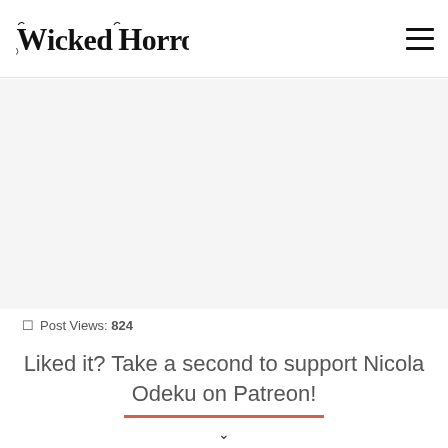Wicked Horror
Post Views: 824
Liked it? Take a second to support Nicola Odeku on Patreon!